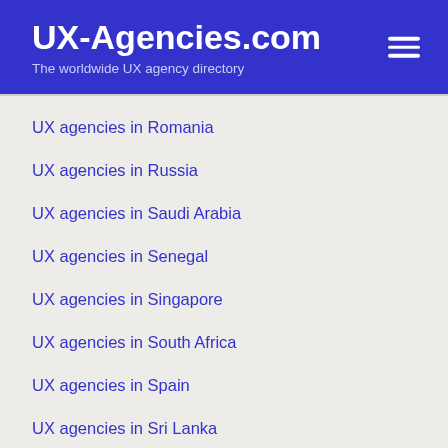UX-Agencies.com
The worldwide UX agency directory
UX agencies in Romania
UX agencies in Russia
UX agencies in Saudi Arabia
UX agencies in Senegal
UX agencies in Singapore
UX agencies in South Africa
UX agencies in Spain
UX agencies in Sri Lanka
UX agencies in Sweden
UX agencies in Switzerland
UX agencies in Turkey